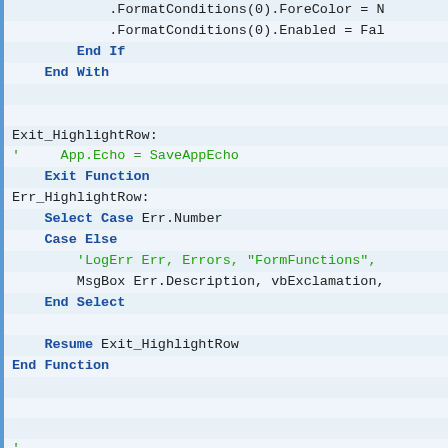[Figure (screenshot): Code editor screenshot showing VBA/VBScript code snippet with syntax highlighting. Lines include FormatConditions, End If, End With, Exit_HighlightRow label, App.Echo = SaveAppEcho comment, Exit Function, Err_HighlightRow label, Select Case Err.Number, Case Else, LogErr comment, MsgBox, End Select, Resume Exit_HighlightRow, End Function, separator comment line, Procedure: GetCurrentRecord, Author: Mike Wolfe, Source: https://nolongerset.com/getcurre]